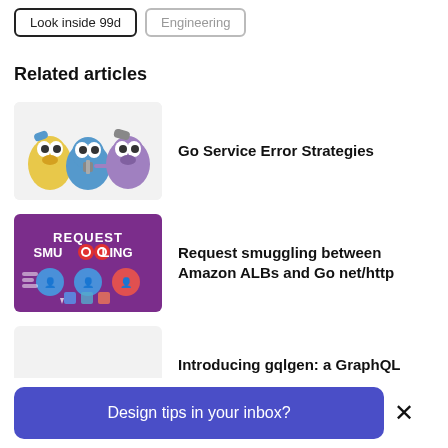Look inside 99d
Engineering
Related articles
[Figure (illustration): Three cartoon Go gopher characters]
Go Service Error Strategies
[Figure (illustration): Purple banner reading REQUEST SMUGGLING with icons]
Request smuggling between Amazon ALBs and Go net/http
[Figure (illustration): gqlgen logo on blue background]
Introducing gqlgen: a GraphQL Server Generator for Go
Design tips in your inbox?